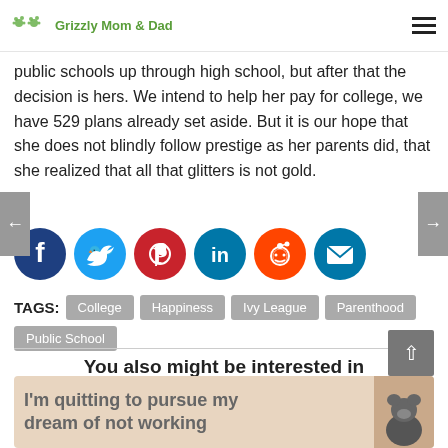Grizzly Mom & Dad
public schools up through high school, but after that the decision is hers. We intend to help her pay for college, we have 529 plans already set aside. But it is our hope that she does not blindly follow prestige as her parents did, that she realized that all that glitters is not gold.
[Figure (infographic): Row of six social sharing icons: Facebook (dark blue circle), Twitter (light blue circle), Pinterest (red circle), LinkedIn (teal circle), Reddit (orange circle), Email (teal circle)]
TAGS: College  Happiness  Ivy League  Parenthood  Public School
You also might be interested in
[Figure (illustration): Preview card with beige/tan background showing text: I'm quitting to pursue my dream of not working, with a cartoon bear image on the right]